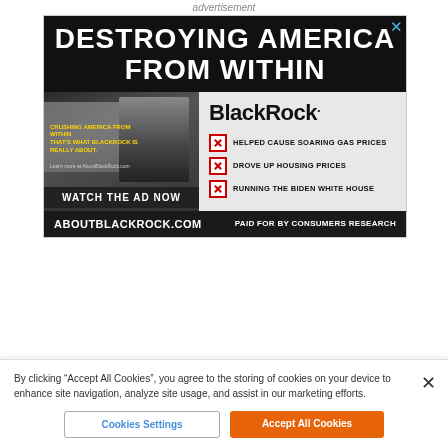advertisement
[Figure (screenshot): Advertisement banner for AboutBlackRock.com by Consumers Research. Dark background with large white bold text 'DESTROYING AMERICA FROM WITHIN'. Below: a video thumbnail showing a man in front of a building with yellow text 'CRUSHING AMERICA FROM WITHIN THAT'S WHAT BLACKROCK IS REALLY ABOUT. Learn more at AboutBlackRock.com' and a 'WATCH THE AD NOW' button. Right side shows 'BlackRock.' logo and three bullet points with red X checkboxes: 'HELPED CAUSE SOARING GAS PRICES', 'DROVE UP HOUSING PRICES', 'RUNNING THE BIDEN WHITE HOUSE'. Footer bar: 'ABOUTBLACKROCK.COM' and 'PAID FOR BY CONSUMERS RESEARCH'.]
By clicking “Accept All Cookies”, you agree to the storing of cookies on your device to enhance site navigation, analyze site usage, and assist in our marketing efforts.
Cookies Settings
Accept All Cookies